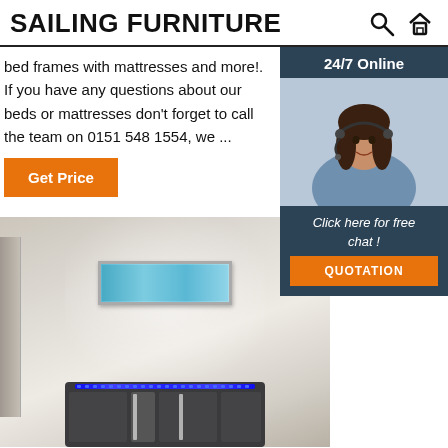SAILING FURNITURE
bed frames with mattresses and more!. If you have any questions about our beds or mattresses don't forget to call the team on 0151 548 1554, we ...
[Figure (photo): Customer service representative with headset, 24/7 Online support sidebar with quotation button]
[Figure (photo): Modern bed with LED lighting in the headboard against a neutral wall with framed artwork]
Get Price
24/7 Online
Click here for free chat !
QUOTATION